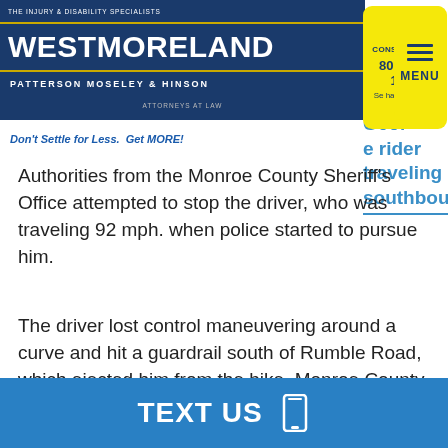Westmoreland Patterson Moseley & Hinson – THE INJURY & DISABILITY SPECIALISTS – ATTORNEYS AT LAW – FREE CONSULTATION 800-688-1651 Se habla Español – Don't Settle for Less. Get MORE!
Authorities from the Monroe County Sheriff's Office attempted to stop the driver, who was traveling 92 mph. when police started to pursue him.
The driver lost control maneuvering around a curve and hit a guardrail south of Rumble Road, which ejected him from the bike. Monroe County EMS responded to the motorcycle accident and pronounced the driver dead. The fatality is currently being investigated by the Georgia State Patrol.
TEXT US